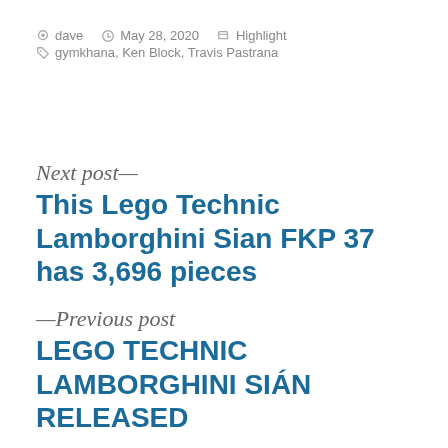dave  May 28, 2020  Highlight  gymkhana, Ken Block, Travis Pastrana
Next post—
This Lego Technic Lamborghini Sian FKP 37 has 3,696 pieces
—Previous post
LEGO TECHNIC LAMBORGHINI SIÁN RELEASED